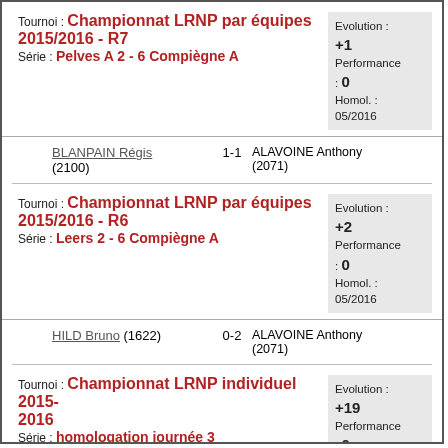Tournoi : Championnat LRNP par équipes 2015/2016 - R7
Série : Pelves A 2 - 6 Compiègne A
Evolution : +1
Performance : 0
Homol. : 05/2016
BLANPAIN Régis (2100) 1-1 ALAVOINE Anthony (2071)
Tournoi : Championnat LRNP par équipes 2015/2016 - R6
Série : Leers 2 - 6 Compiègne A
Evolution : +2
Performance : 0
Homol. : 05/2016
HILD Bruno (1622) 0-2 ALAVOINE Anthony (2071)
Tournoi : Championnat LRNP individuel 2015-2016
Série : homologation journée 3
Evolution : +19
Performance : 0
Homol. : 04/2016
ALAVOINE Anthony 0-0 CARTON Mickael